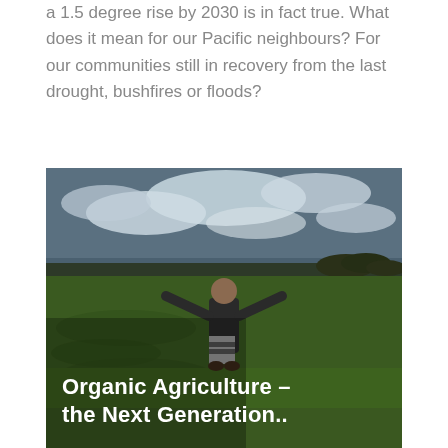a 1.5 degree rise by 2030 is in fact true. What does it mean for our Pacific neighbours? For our communities still in recovery from the last drought, bushfires or floods?
[Figure (photo): A child standing in a green rice paddy field with arms outstretched, under a dramatic cloudy sky. Overlaid white text reads: Organic Agriculture – the Next Generation..]